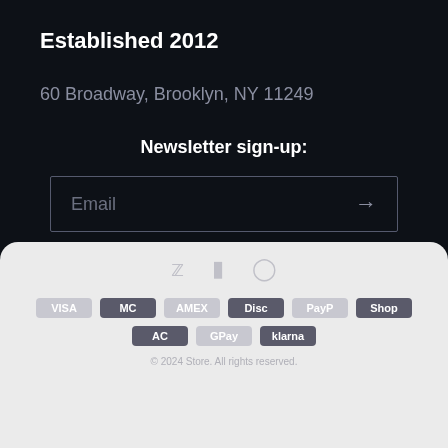Established 2012
60 Broadway, Brooklyn, NY 11249
Newsletter sign-up:
Email →
[Figure (infographic): Social media icons (Twitter, Facebook, Instagram) and payment method badges in a light grey rounded panel at the bottom of the page]